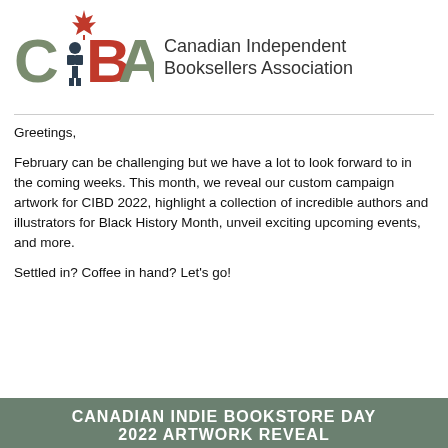[Figure (logo): CIBA logo with red maple leaf above letter C, figure of person reading between C and B, red B and A letters in olive green, forming CIBA acronym]
Canadian Independent Booksellers Association
Greetings,
February can be challenging but we have a lot to look forward to in the coming weeks. This month, we reveal our custom campaign artwork for CIBD 2022, highlight a collection of incredible authors and illustrators for Black History Month, unveil exciting upcoming events, and more.
Settled in? Coffee in hand? Let's go!
CANADIAN INDIE BOOKSTORE DAY 2022 ARTWORK REVEAL